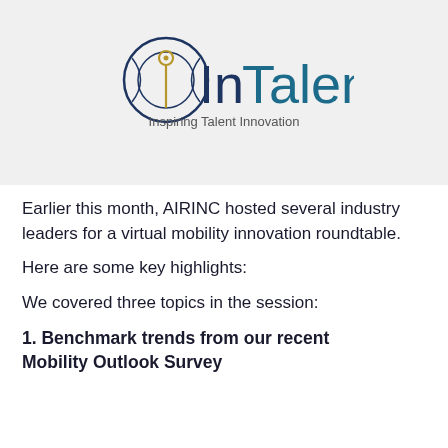[Figure (logo): InTalent logo with globe/pin icon and tagline 'Inspiring Talent Innovation']
Earlier this month, AIRINC hosted several industry leaders for a virtual mobility innovation roundtable.
Here are some key highlights:
We covered three topics in the session:
1. Benchmark trends from our recent Mobility Outlook Survey